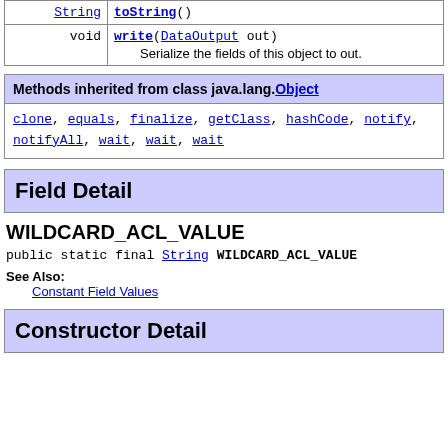| Return | Method/Description |
| --- | --- |
| String | toString() |
| void | write(DataOutput out)
    Serialize the fields of this object to out. |
| Methods inherited from class java.lang.Object |
| --- |
| clone, equals, finalize, getClass, hashCode, notify, notifyAll, wait, wait, wait |
Field Detail
WILDCARD_ACL_VALUE
public static final String WILDCARD_ACL_VALUE
See Also:
    Constant Field Values
Constructor Detail